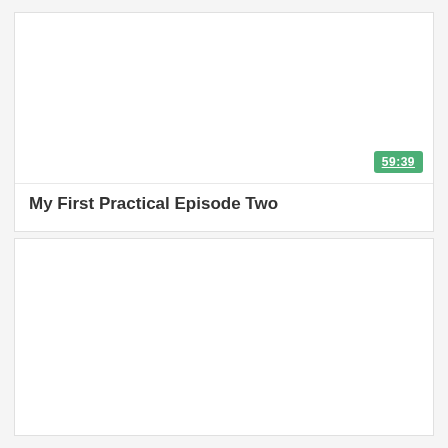[Figure (screenshot): Video thumbnail area for 'My First Practical Episode Two', mostly white/blank with a green duration badge showing 59:39 in the bottom right corner]
My First Practical Episode Two
[Figure (screenshot): Second video thumbnail area, blank white content area]